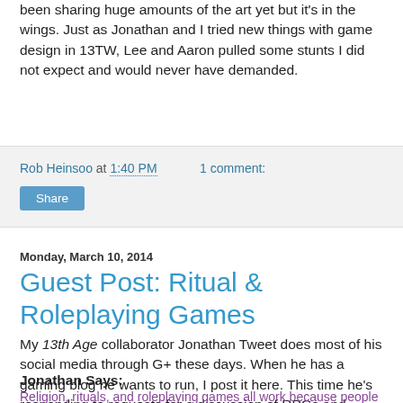been sharing huge amounts of the art yet but it's in the wings. Just as Jonathan and I tried new things with game design in 13TW, Lee and Aaron pulled some stunts I did not expect and would never have demanded.
Rob Heinsoo at 1:40 PM   1 comment:
Share
Monday, March 10, 2014
Guest Post: Ritual & Roleplaying Games
My 13th Age collaborator Jonathan Tweet does most of his social media through G+ these days. When he has a gaming blog he wants to run, I post it here. This time he's responding to requests for a discussion of RPGs and rituals.
Jonathan Says:
Religion, rituals, and roleplaying games all work because people are suggestible. Maybe you've heard that being suggestible is a bad thing, as if it means you have